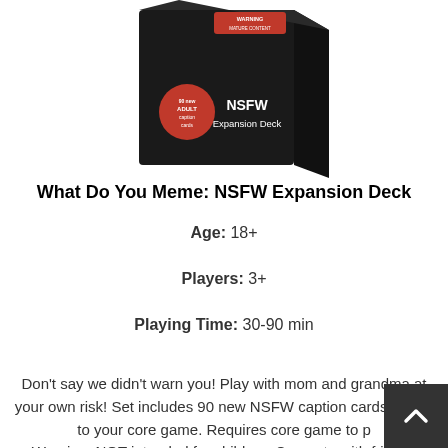[Figure (photo): Product photo of What Do You Meme: NSFW Expansion Deck card game box, black packaging with red warning label and red circle badge saying '90 new ADULT caption cards']
What Do You Meme: NSFW Expansion Deck
Age: 18+
Players: 3+
Playing Time: 30-90 min
Don't say we didn't warn you! Play with mom and grandma at your own risk! Set includes 90 new NSFW caption cards to add to your core game. Requires core game to p... Warning: NOT intended for children. Compete with friends